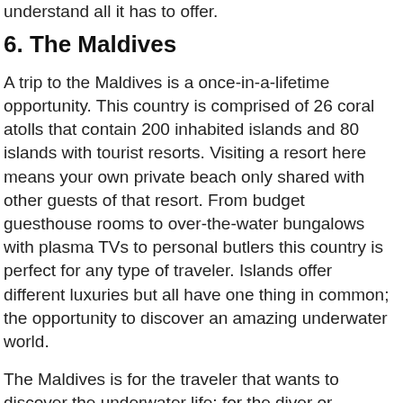understand all it has to offer.
6. The Maldives
A trip to the Maldives is a once-in-a-lifetime opportunity. This country is comprised of 26 coral atolls that contain 200 inhabited islands and 80 islands with tourist resorts. Visiting a resort here means your own private beach only shared with other guests of that resort. From budget guesthouse rooms to over-the-water bungalows with plasma TVs to personal butlers this country is perfect for any type of traveler. Islands offer different luxuries but all have one thing in common; the opportunity to discover an amazing underwater world.
The Maldives is for the traveler that wants to discover the underwater life; for the diver or snorkeler who longs to be in the water and is happy to curl up on the beach in between dives. From baby sharks to manta rays to